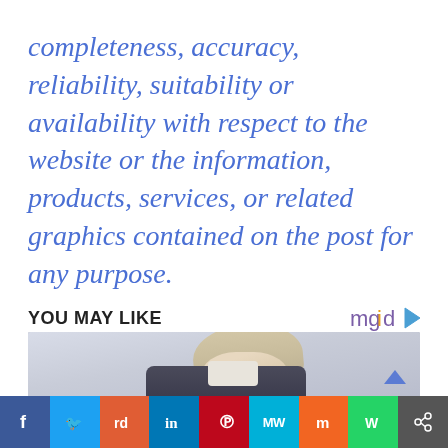completeness, accuracy, reliability, suitability or availability with respect to the website or the information, products, services, or related graphics contained on the post for any purpose.
YOU MAY LIKE
[Figure (photo): Photo of a person (appears to be Donald Trump) from behind/side, showing grey-blonde hair, against a light grey background]
Facebook | Twitter | Reddit | LinkedIn | Pinterest | MeWe | Mix | WhatsApp | Share